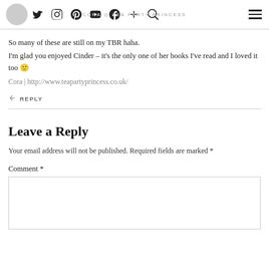CORA @ TEA PARTY PRINCESS — navigation bar with social icons and hamburger menu
So many of these are still on my TBR haha.
I'm glad you enjoyed Cinder – it's the only one of her books I've read and I loved it too 🙂
Cora | http://www.teapartyprincess.co.uk/
↩ REPLY
Leave a Reply
Your email address will not be published. Required fields are marked *
Comment *